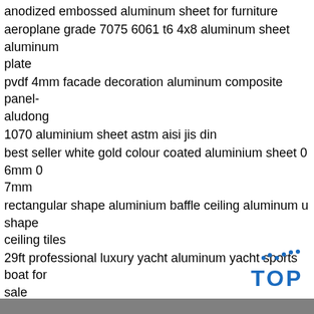anodized embossed aluminum sheet for furniture
aeroplane grade 7075 6061 t6 4x8 aluminum sheet aluminum plate
pvdf 4mm facade decoration aluminum composite panel-aludong
1070 aluminium sheet astm aisi jis din
best seller white gold colour coated aluminium sheet 0 6mm 0 7mm
rectangular shape aluminium baffle ceiling aluminum u shape ceiling tiles
29ft professional luxury yacht aluminum yacht sports boat for sale
handysub aluminum round circles disc disk factory
aluminum aluminium middle thick plate 6061 t6
mill 5086 h32 h34 h112 h116 aluminum sheet
orange peel pattern aluminum plate manufacture
3003 4343 brazing aluminum vapor chamber plate fo...
[Figure (logo): TOP logo with blue dotted arc above the letters T, O, P in blue]